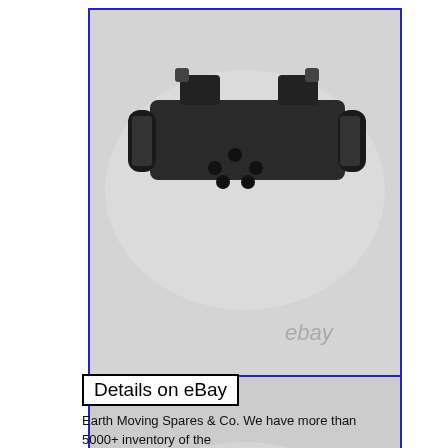[Figure (photo): Top-down photo of a hydraulic directional control valve (dark metallic body with port holes visible on face and end caps with knurled manual override knobs on each side). eBay watermark visible in lower right area. Blue border around image.]
[Figure (photo): Side/bottom view of the same hydraulic directional control valve showing the body casting and solenoid caps. eBay watermark visible in lower right area. Blue border around image.]
Details on eBay
Earth Moving Spares & Co. We have more than 5000+ inventory of the